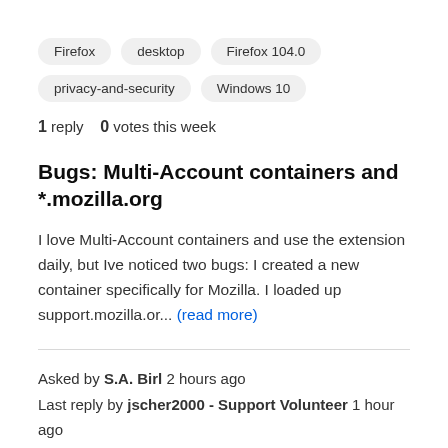Firefox
desktop
Firefox 104.0
privacy-and-security
Windows 10
1 reply   0 votes this week
Bugs: Multi-Account containers and *.mozilla.org
I love Multi-Account containers and use the extension daily, but Ive noticed two bugs: I created a new container specifically for Mozilla. I loaded up support.mozilla.or... (read more)
Asked by S.A. Birl 2 hours ago
Last reply by jscher2000 - Support Volunteer 1 hour ago